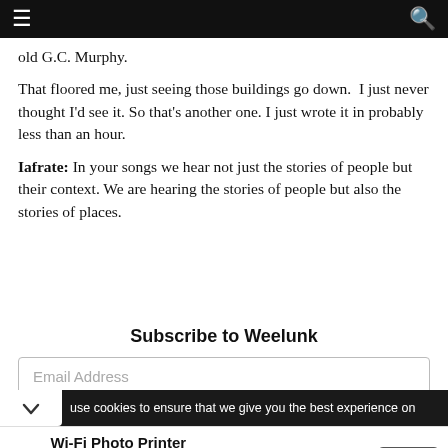≡  [search icon]
old G.C. Murphy.
That floored me, just seeing those buildings go down.  I just never thought I'd see it. So that's another one. I just wrote it in probably less than an hour.
Iafrate: In your songs we hear not just the stories of people but their context. We are hearing the stories of people but also the stories of places.
Subscribe to Weelunk
Email Address
use cookies to ensure that we give you the best experience on
[Figure (screenshot): Advertisement for Liene Wi-Fi Photo Printer with Open button]